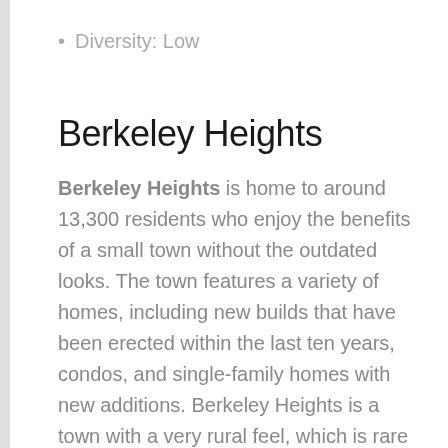Diversity: Low
Berkeley Heights
Berkeley Heights is home to around 13,300 residents who enjoy the benefits of a small town without the outdated looks. The town features a variety of homes, including new builds that have been erected within the last ten years, condos, and single-family homes with new additions. Berkeley Heights is a town with a very rural feel, which is rare to find so close to New York City.